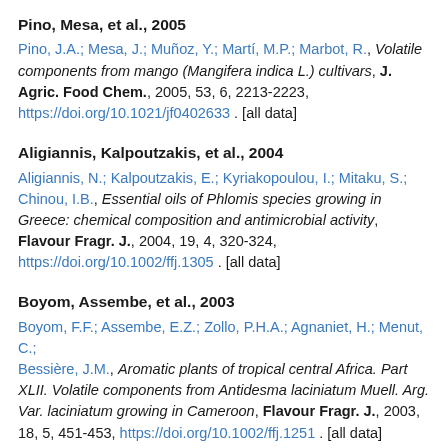Pino, Mesa, et al., 2005
Pino, J.A.; Mesa, J.; Muñoz, Y.; Martí, M.P.; Marbot, R., Volatile components from mango (Mangifera indica L.) cultivars, J. Agric. Food Chem., 2005, 53, 6, 2213-2223, https://doi.org/10.1021/jf0402633 . [all data]
Aligiannis, Kalpoutzakis, et al., 2004
Aligiannis, N.; Kalpoutzakis, E.; Kyriakopoulou, I.; Mitaku, S.; Chinou, I.B., Essential oils of Phlomis species growing in Greece: chemical composition and antimicrobial activity, Flavour Fragr. J., 2004, 19, 4, 320-324, https://doi.org/10.1002/ffj.1305 . [all data]
Boyom, Assembe, et al., 2003
Boyom, F.F.; Assembe, E.Z.; Zollo, P.H.A.; Agnaniet, H.; Menut, C.; Bessière, J.M., Aromatic plants of tropical central Africa. Part XLII. Volatile components from Antidesma laciniatum Muell. Arg. Var. laciniatum growing in Cameroon, Flavour Fragr. J., 2003, 18, 5, 451-453, https://doi.org/10.1002/ffj.1251 . [all data]